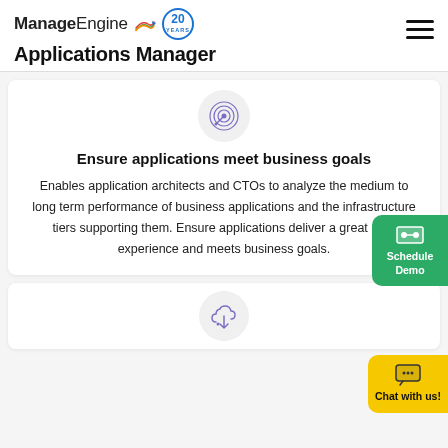ManageEngine Applications Manager
[Figure (screenshot): Target/bullseye icon in a light gray circle]
Ensure applications meet business goals
Enables application architects and CTOs to analyze the medium to long term performance of business applications and the infrastructure tiers supporting them. Ensure applications deliver a great user experience and meets business goals.
[Figure (illustration): Cloud upload icon in a light gray circle, partially visible at bottom of page]